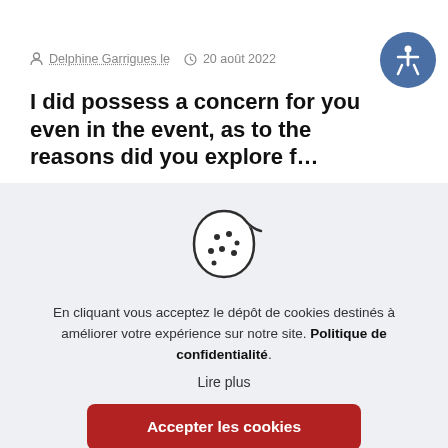Delphine Garrigues le  20 août 2022
I did possess a concern for you even in the event, as to the reasons did you explore f…
[Figure (illustration): Cookie icon: a round cookie with a bite taken out and dots representing chocolate chips, drawn in outline style]
En cliquant vous acceptez le dépôt de cookies destinés à améliorer votre expérience sur notre site. Politique de confidentialité.
Lire plus
Accepter les cookies